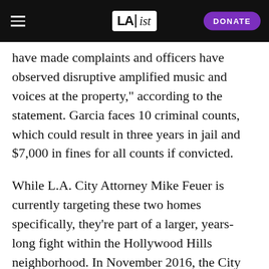LAist — DONATE
have made complaints and officers have observed disruptive amplified music and voices at the property," according to the statement. Garcia faces 10 criminal counts, which could result in three years in jail and $7,000 in fines for all counts if convicted.
While L.A. City Attorney Mike Feuer is currently targeting these two homes specifically, they're part of a larger, years-long fight within the Hollywood Hills neighborhood. In November 2016, the City Council voted to draft an ordinance addressing the lax laws around using homes for partying purposes, according to the L.A. Times. City Councilman David